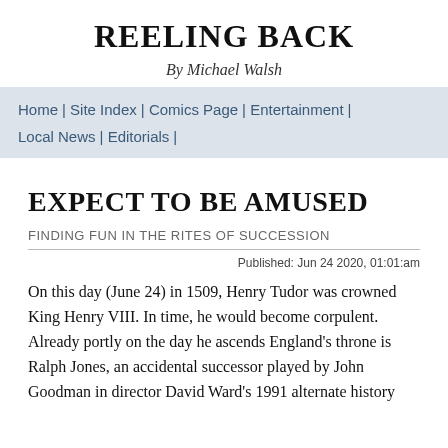REELING BACK
By Michael Walsh
Home | Site Index | Comics Page | Entertainment | Local News | Editorials |
EXPECT TO BE AMUSED
FINDING FUN IN THE RITES OF SUCCESSION
Published: Jun 24 2020, 01:01:am
On this day (June 24) in 1509, Henry Tudor was crowned King Henry VIII. In time, he would become corpulent. Already portly on the day he ascends England's throne is Ralph Jones, an accidental successor played by John Goodman in director David Ward's 1991 alternate history